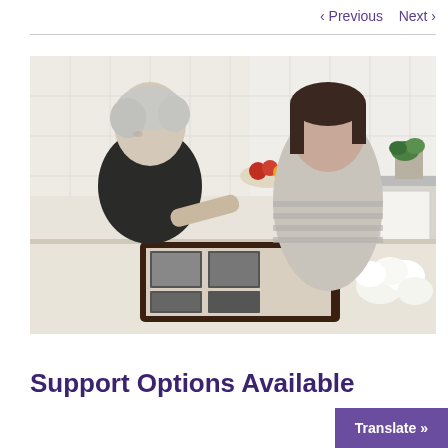< Previous   Next >
[Figure (photo): An elderly man with gray hair in a dark cardigan sits at a table with a younger woman with dark hair in a gray striped top. They are looking at a photo album together in a kitchen setting. White flowers are visible on the table.]
Support Options Available